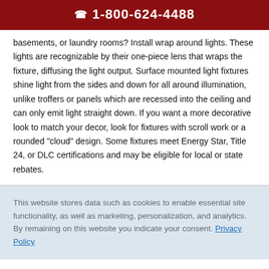1-800-624-4488
basements, or laundry rooms? Install wrap around lights. These lights are recognizable by their one-piece lens that wraps the fixture, diffusing the light output. Surface mounted light fixtures shine light from the sides and down for all around illumination, unlike troffers or panels which are recessed into the ceiling and can only emit light straight down. If you want a more decorative look to match your decor, look for fixtures with scroll work or a rounded "cloud" design. Some fixtures meet Energy Star, Title 24, or DLC certifications and may be eligible for local or state rebates.
This website stores data such as cookies to enable essential site functionality, as well as marketing, personalization, and analytics. By remaining on this website you indicate your consent. Privacy Policy